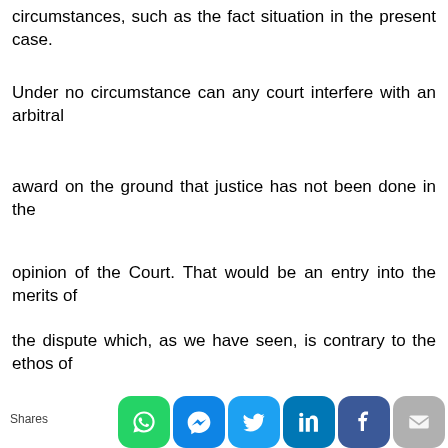circumstances, such as the fact situation in the present case.
Under no circumstance can any court interfere with an arbitral
award on the ground that justice has not been done in the
opinion of the Court. That would be an entry into the merits of
the dispute which, as we have seen, is contrary to the ethos of
Section 34 of the 1996 Act, as has been noted earlier in this
judgment."
Shares